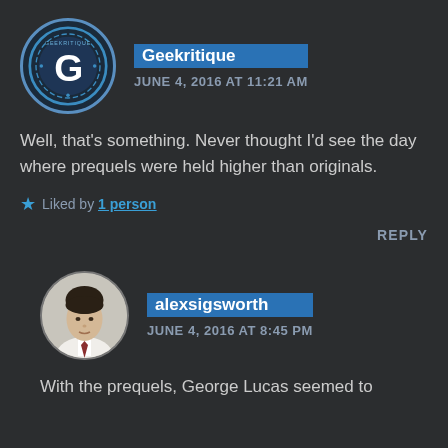[Figure (logo): Geekritique circular logo with a stylized G in blue and white]
Geekritique
JUNE 4, 2016 AT 11:21 AM
Well, that's something. Never thought I'd see the day where prequels were held higher than originals.
Liked by 1 person
REPLY
[Figure (photo): Profile photo of alexsigsworth, a young man with dark hair wearing a white shirt and tie]
alexsigsworth
JUNE 4, 2016 AT 8:45 PM
With the prequels, George Lucas seemed to